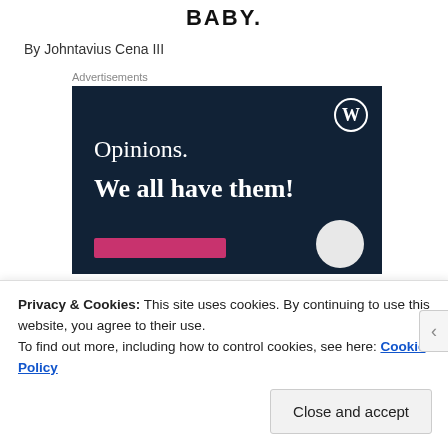BABY.
By Johntavius Cena III
Advertisements
[Figure (illustration): WordPress advertisement with dark navy background, WordPress logo in top right, text reading 'Opinions. We all have them!', pink button bar at bottom left, white circle at bottom right.]
Privacy & Cookies: This site uses cookies. By continuing to use this website, you agree to their use.
To find out more, including how to control cookies, see here: Cookie Policy